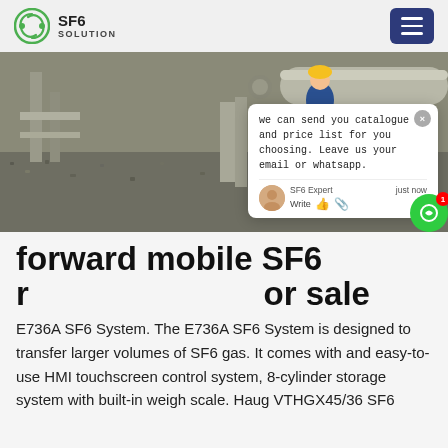SF6 SOLUTION
[Figure (photo): Industrial outdoor scene showing workers near large pipe infrastructure on a gravel surface. A worker in blue coveralls and hard hat is visible near grey industrial piping. A chat popup overlay is shown on the right side of the image with text: 'we can send you catalogue and price list for you choosing. Leave us your email or whatsapp.' with SF6 Expert label, 'just now' timestamp, and a Write input area.]
forward mobile SF6 recovery unit for sale
E736A SF6 System. The E736A SF6 System is designed to transfer larger volumes of SF6 gas. It comes with and easy-to-use HMI touchscreen control system, 8-cylinder storage system with built-in weigh scale. Haug VTHGX45/36 SF6...